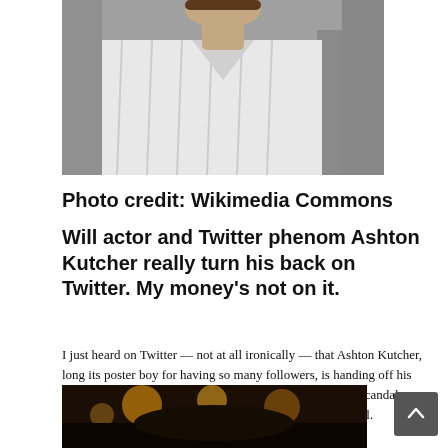[Figure (photo): Photo of Ashton Kutcher in a white striped shirt, cropped at chest level, people visible in background]
Photo credit: Wikimedia Commons
Will actor and Twitter phenom Ashton Kutcher really turn his back on Twitter. My money's not on it.
I just heard on Twitter — not at all ironically — that Ashton Kutcher, long its poster boy for having so many followers, is handing off his Twitter account to his handlers. It all comes in wake of a scandal on Twitter, which Samantha Ettus at Forbes describes in detail.
[Figure (photo): Partially visible photo at bottom of page, showing blurred lights and dark tones]